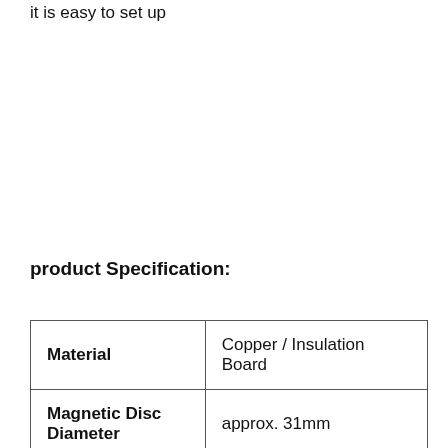ground mount anywhere in seconds because it is easy to set up
product Specification:
|  |  |
| --- | --- |
| Material | Copper / Insulation Board |
| Magnetic Disc Diameter | approx. 31mm |